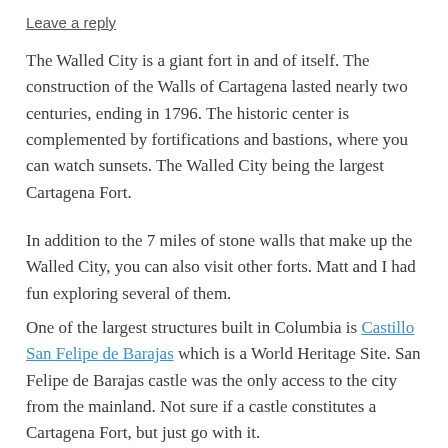Leave a reply
The Walled City is a giant fort in and of itself.  The construction of the Walls of Cartagena lasted nearly two centuries, ending in 1796. The historic center is complemented by fortifications and bastions, where you can watch sunsets.  The Walled City being the largest Cartagena Fort.
In addition to the 7 miles of stone walls that make up the Walled City, you can also visit other forts.  Matt and I had fun exploring several of them.
One of the largest structures built in Columbia is Castillo San Felipe de Barajas which is a World Heritage Site.  San Felipe de Barajas castle was the only access to the city from the mainland.  Not sure if a castle constitutes a Cartagena Fort, but just go with it.